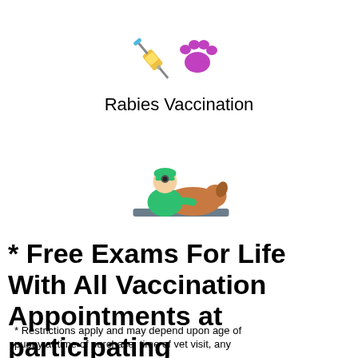[Figure (illustration): Colorful icon of a syringe/needle with a purple pet paw print, representing a rabies vaccination]
Rabies Vaccination
[Figure (illustration): Colorful icon of a veterinarian in green scrubs with a head mirror examining a brown dog lying on an exam table]
* Free Exams For Life With All Vaccination Appointments at participating veterinarians.
* Restrictions apply and may depend upon age of puppy at time of purchase, time of vet visit, any